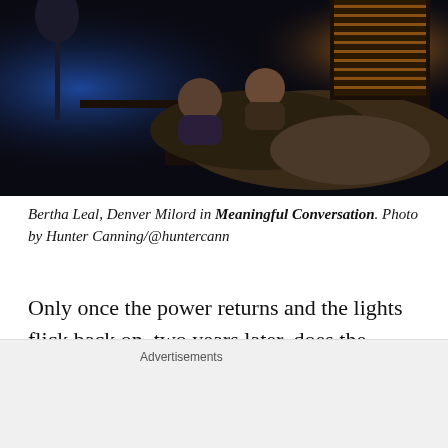[Figure (photo): Two people lying in a dark bedroom. One person is illuminated by blue light from a lamp on the left side; the other is partially lit. A warm amber glow comes from window blinds on the right. Bed with rumpled blankets in the foreground.]
Bertha Leal, Denver Milord in Meaningful Conversation. Photo by Hunter Canning/@huntercann
Only once the power returns and the lights flick back on, two years later, does the overarching interactive engagement right itself. David wakes
Advertisements